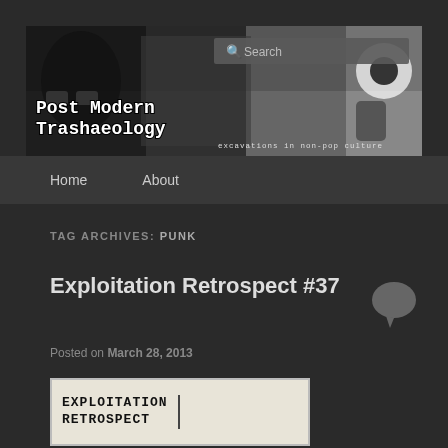[Figure (screenshot): Website header banner collage with black and white photos, site title 'Post Modern Trashaeology' and tagline 'excavations in non-pop culture', with a search box]
Post Modern Trashaeology — excavations in non-pop culture
Home
About
TAG ARCHIVES: PUNK
Exploitation Retrospect #37
Posted on March 28, 2013
[Figure (photo): Zine cover image showing hand-drawn text reading 'EXPLOITATION RETROSPECT' in uppercase block letters]